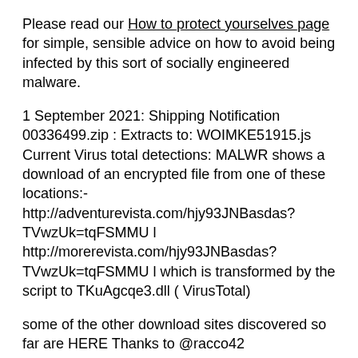Please read our How to protect yourselves page for simple, sensible advice on how to avoid being infected by this sort of socially engineered malware.
1 September 2021: Shipping Notification 00336499.zip : Extracts to: WOIMKE51915.js Current Virus total detections: MALWR shows a download of an encrypted file from one of these locations:- http://adventurevista.com/hjy93JNBasdas?TVwzUk=tqFSMMU l http://morerevista.com/hjy93JNBasdas?TVwzUk=tqFSMMU l which is transformed by the script to TKuAgcqe3.dll ( VirusTotal)
some of the other download sites discovered so far are HERE Thanks to @racco42
Previous campaigns over the last few weeks have delivered numerous different download sites and